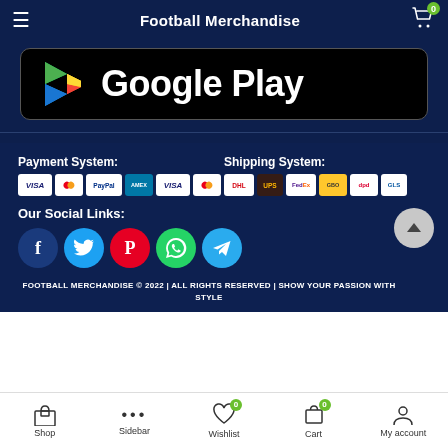Football Merchandise
[Figure (logo): Google Play store badge - black rounded rectangle with Google Play logo (triangle in green/yellow/red/blue) and 'Google Play' text in white]
Payment System:
[Figure (other): Payment logos: VISA, Mastercard, PayPal, American Express, VISA, Mastercard]
Shipping System:
[Figure (other): Shipping logos: DHL, UPS, FedEx, OBO/GBO, DPD, GLS]
Our Social Links:
[Figure (other): Social media icons: Facebook (dark blue), Twitter (light blue), Pinterest (red), WhatsApp (green), Telegram (light blue)]
FOOTBALL MERCHANDISE © 2022 | ALL RIGHTS RESERVED | SHOW YOUR PASSION WITH STYLE
Shop  Sidebar  Wishlist  Cart  My account